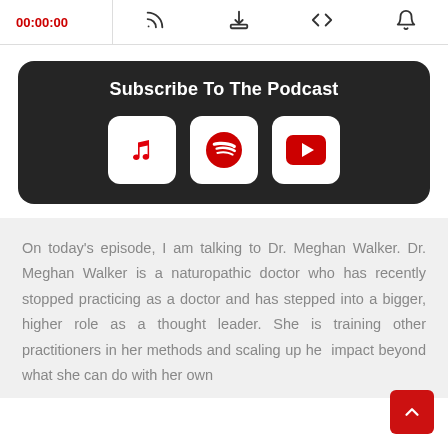00:00:00
Subscribe To The Podcast
[Figure (infographic): Three podcast subscription buttons: Apple Podcasts (music note), Spotify (circular logo), YouTube (play button), displayed as white rounded squares on a dark background.]
On today's episode, I am talking to Dr. Meghan Walker. Dr. Meghan Walker is a naturopathic doctor who has recently stopped practicing as a doctor and has stepped into a bigger, higher role as a thought leader. She is training other practitioners in her methods and scaling up her impact beyond what she can do with her own